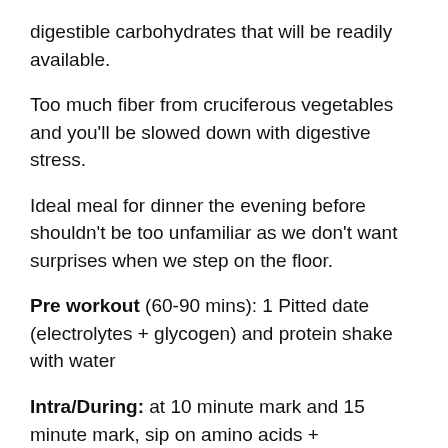digestible carbohydrates that will be readily available.
Too much fiber from cruciferous vegetables and you'll be slowed down with digestive stress.
Ideal meal for dinner the evening before shouldn't be too unfamiliar as we don't want surprises when we step on the floor.
Pre workout (60-90 mins): 1 Pitted date (electrolytes + glycogen) and protein shake with water
Intra/During: at 10 minute mark and 15 minute mark, sip on amino acids + electrolytes gluco (easy carbs)